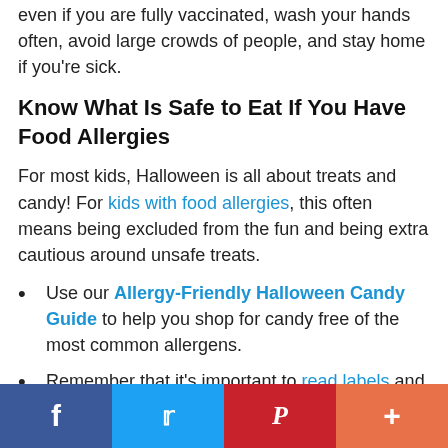even if you are fully vaccinated, wash your hands often, avoid large crowds of people, and stay home if you're sick.
Know What Is Safe to Eat If You Have Food Allergies
For most kids, Halloween is all about treats and candy! For kids with food allergies, this often means being excluded from the fun and being extra cautious around unsafe treats.
Use our Allergy-Friendly Halloween Candy Guide to help you shop for candy free of the most common allergens.
Remember that it's important to read labels and avoid cross-contact of safe treats with allergens.
Know how to prevent, recognize, and treat a severe
Facebook Twitter Pinterest +